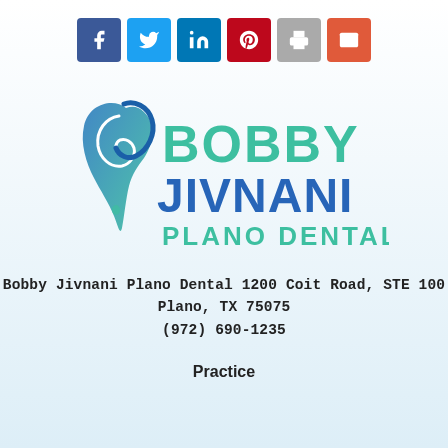[Figure (infographic): Social media share buttons row: Facebook (dark blue), Twitter (light blue), LinkedIn (medium blue), Pinterest (red), Print (gray), Email (orange-red)]
[Figure (logo): Bobby Jivnani Plano Dental logo — tooth icon in blue/teal gradient on left, BOBBY in teal, JIVNANI in blue, PLANO DENTAL in teal below]
Bobby Jivnani Plano Dental 1200 Coit Road, STE 100 Plano, TX 75075 (972) 690-1235
Practice